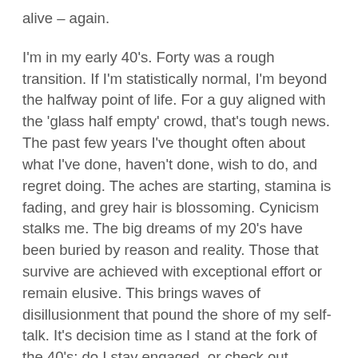alive – again.
I'm in my early 40's. Forty was a rough transition. If I'm statistically normal, I'm beyond the halfway point of life. For a guy aligned with the 'glass half empty' crowd, that's tough news. The past few years I've thought often about what I've done, haven't done, wish to do, and regret doing. The aches are starting, stamina is fading, and grey hair is blossoming. Cynicism stalks me. The big dreams of my 20's have been buried by reason and reality. Those that survive are achieved with exceptional effort or remain elusive. This brings waves of disillusionment that pound the shore of my self-talk. It's decision time as I stand at the fork of the 40's: do I stay engaged, or check out.
As I reflect upon my strangely euphoric reaction to